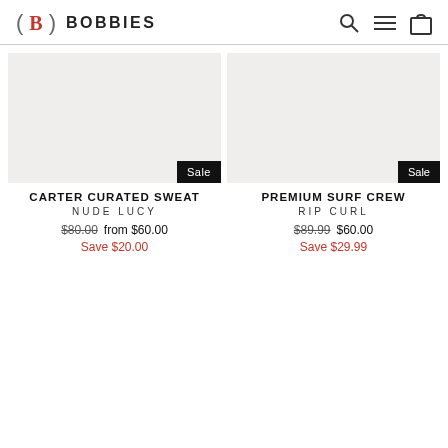BOBBIES
CARTER CURATED SWEAT
NUDE LUCY
$80.00 from $60.00
Save $20.00
PREMIUM SURF CREW
RIP CURL
$89.99 $60.00
Save $29.99